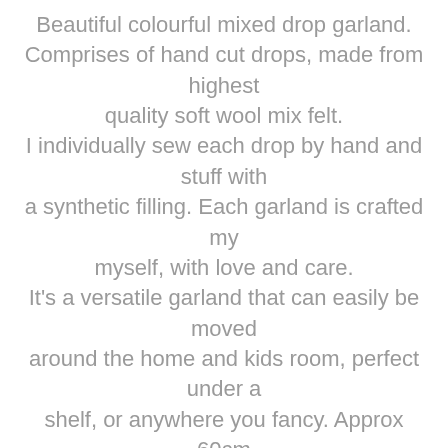Beautiful colourful mixed drop garland. Comprises of hand cut drops, made from highest quality soft wool mix felt. I individually sew each drop by hand and stuff with a synthetic filling. Each garland is crafted my myself, with love and care. It's a versatile garland that can easily be moved around the home and kids room, perfect under a shelf, or anywhere you fancy. Approx 60cm Loops to each end, to aid display (you can pop a drawing pin through to secure) or simply use a washi tape to stick each end to your wall. This item is not a toy and should be kept out of reach of children. Colours:grey blue marl, darker beige, white, mustard, petrol, grey-blue, pale beige, terracotta, mid grey